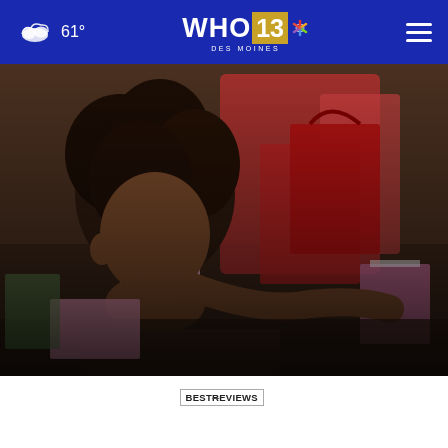61° | WHO 13 DES MOINES NBC
[Figure (photo): A young girl with curly hair leaning over a dollhouse/toy set with red and pink boxes and gift-wrapped presents around her]
DOLLS & DOLLHOUSES | BESTREVIEWS
10 Gabby's Dollhouse gifts that...